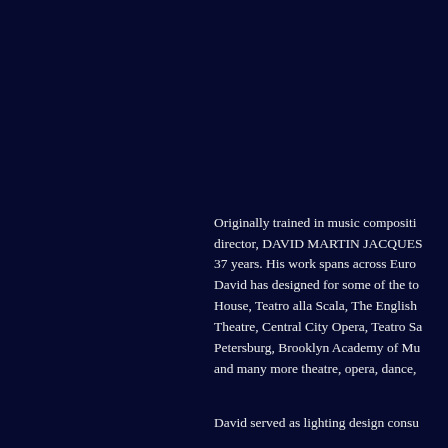Originally trained in music compositi- director, DAVID MARTIN JACQUES 37 years. His work spans across Euro David has designed for some of the to House, Teatro alla Scala, The English Theatre, Central City Opera, Teatro Sa Petersburg, Brooklyn Academy of Mu and many more theatre, opera, dance,
David served as lighting design consu-